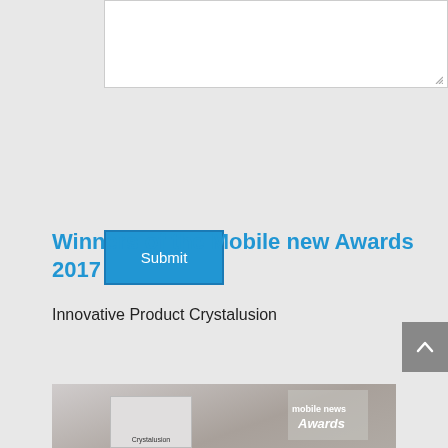[Figure (screenshot): White textarea input box with resize handle in bottom-right corner]
[Figure (screenshot): Blue Submit button with white text]
Winners of the Mobile new Awards 2017
Innovative Product Crystalusion
[Figure (photo): Photo showing Crystalusion product packaging next to a Mobile News Awards sign/display]